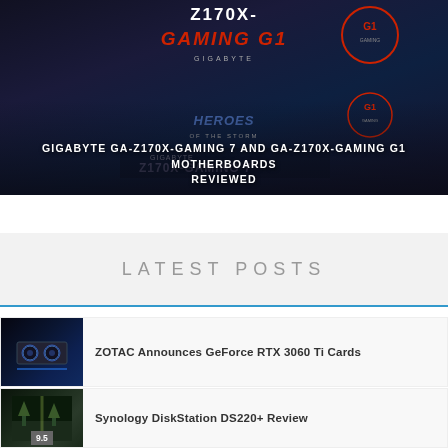[Figure (photo): Hero image showing GIGABYTE GA-Z170X-Gaming 7 and GA-Z170X-Gaming G1 motherboard box art with dark blue/gaming aesthetic. Title text overlay reads 'GIGABYTE GA-Z170X-GAMING 7 AND GA-Z170X-GAMING G1 MOTHERBOARDS REVIEWED']
GIGABYTE GA-Z170X-GAMING 7 AND GA-Z170X-GAMING G1 MOTHERBOARDS REVIEWED
LATEST POSTS
[Figure (photo): Thumbnail image of ZOTAC GeForce RTX 3060 Ti graphics card on dark blue background]
ZOTAC Announces GeForce RTX 3060 Ti Cards
[Figure (photo): Thumbnail image of Synology DiskStation DS220+ with score badge 9.5]
Synology DiskStation DS220+ Review